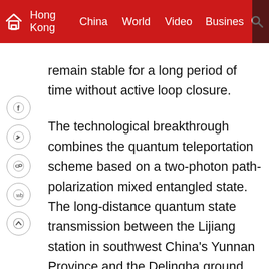Hong Kong  China  World  Video  Business
remain stable for a long period of time without active loop closure.
The technological breakthrough combines the quantum teleportation scheme based on a two-photon path-polarization mixed entangled state. The long-distance quantum state transmission between the Lijiang station in southwest China's Yunnan Province and the Delingha ground station in northwest China's Qinghai Province, which are 1,200 kilometers apart, was finally verified.
In this successful experiment, a total of six typical